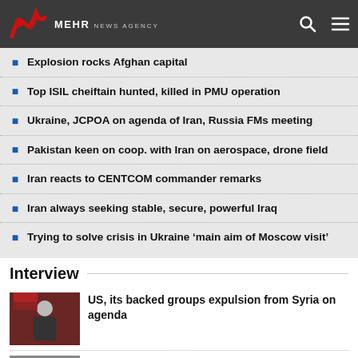MEHR NEWS AGENCY
Explosion rocks Afghan capital
Top ISIL cheiftain hunted, killed in PMU operation
Ukraine, JCPOA on agenda of Iran, Russia FMs meeting
Pakistan keen on coop. with Iran on aerospace, drone field
Iran reacts to CENTCOM commander remarks
Iran always seeking stable, secure, powerful Iraq
Trying to solve crisis in Ukraine ‘main aim of Moscow visit’
Interview
[Figure (photo): Photo of a man in a suit at a podium]
US, its backed groups expulsion from Syria on agenda
[Figure (photo): Photo of a person]
Martyrdom of Hussein turning point in history of